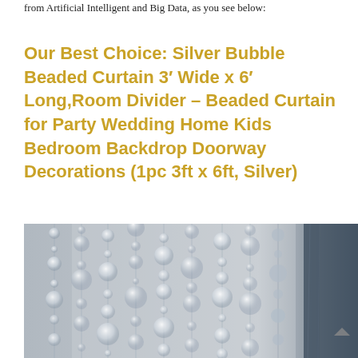from Artificial Intelligent and Big Data, as you see below:
Our Best Choice: Silver Bubble Beaded Curtain 3′ Wide x 6′ Long,Room Divider – Beaded Curtain for Party Wedding Home Kids Bedroom Backdrop Doorway Decorations (1pc 3ft x 6ft, Silver)
[Figure (photo): Photo of a silver bubble beaded curtain showing strands of various-sized circular silver/white beads hanging vertically against a grey background.]